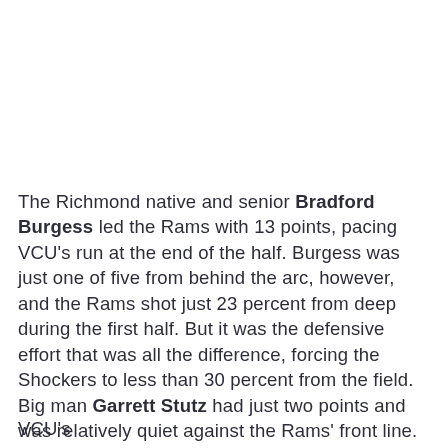The Richmond native and senior Bradford Burgess led the Rams with 13 points, pacing VCU's run at the end of the half. Burgess was just one of five from behind the arc, however, and the Rams shot just 23 percent from deep during the first half. But it was the defensive effort that was all the difference, forcing the Shockers to less than 30 percent from the field. Big man Garrett Stutz had just two points and was relatively quiet against the Rams' front line.
VCU's...